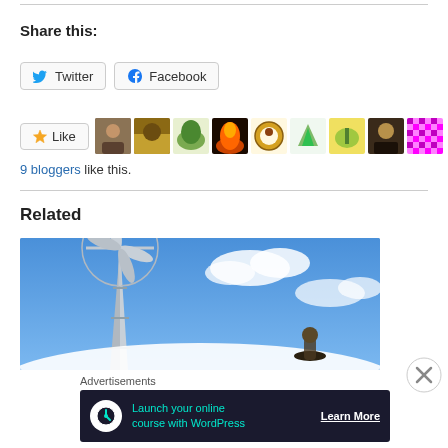Share this:
[Figure (other): Twitter and Facebook social share buttons]
[Figure (other): Like button with 8 blogger avatar thumbnails]
9 bloggers like this.
Related
[Figure (photo): Photo of a windmill against a blue sky with clouds, and a figure wearing a hat at the bottom right]
Advertisements
[Figure (infographic): Advertisement banner: Launch your online course with WordPress — Learn More]